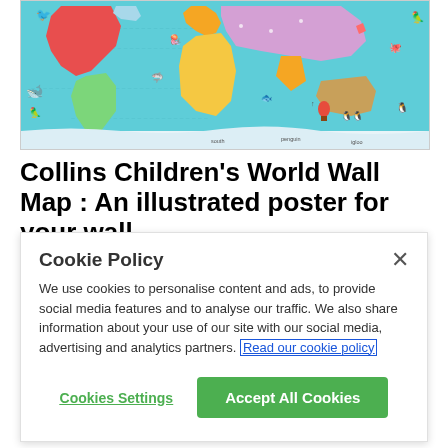[Figure (map): Colorful illustrated children's world map showing continents, oceans, animals, and landmarks in a bright cartoon style with teal/blue ocean background.]
Collins Children's World Wall Map : An illustrated poster for your wall
Cookie Policy
We use cookies to personalise content and ads, to provide social media features and to analyse our traffic. We also share information about your use of our site with our social media, advertising and analytics partners. Read our cookie policy
Cookies Settings
Accept All Cookies